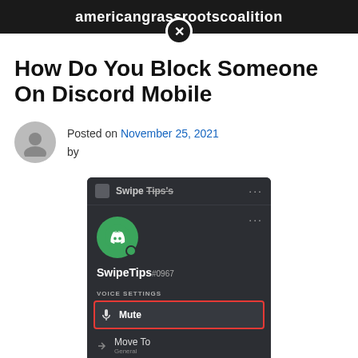americangrassrootscoalition
How Do You Block Someone On Discord Mobile
Posted on November 25, 2021 by
[Figure (screenshot): Discord mobile app screenshot showing a user profile for SwipeTips#0967 with Voice Settings menu displaying Mute option highlighted in red, Move To with General subtitle, and Server Mute options]